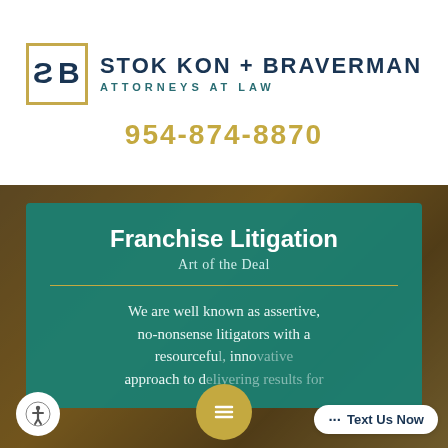[Figure (logo): Stok Kon + Braverman Attorneys at Law logo with SKB monogram in gold-bordered box and dark teal firm name text]
954-874-8870
[Figure (photo): Blurred background photo of a restaurant or bar setting with warm amber tones]
Franchise Litigation
Art of the Deal
We are well known as assertive, no-nonsense litigators with a resourceful, inno[vative] approach to d[elivering] results for